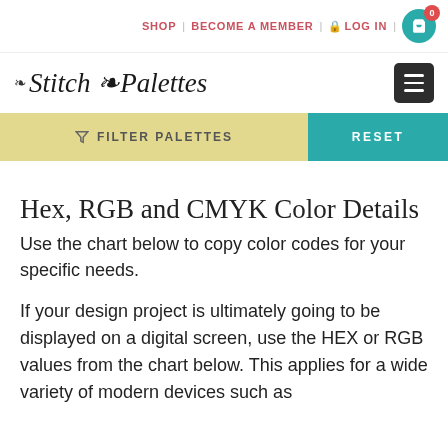SHOP | BECOME A MEMBER | LOG IN | 0
[Figure (logo): Stitch Palettes logo with decorative leaf and floral script text, plus hamburger menu icon]
FILTER PALETTES | RESET
Hex, RGB and CMYK Color Details
Use the chart below to copy color codes for your specific needs.
If your design project is ultimately going to be displayed on a digital screen, use the HEX or RGB values from the chart below. This applies for a wide variety of modern devices such as